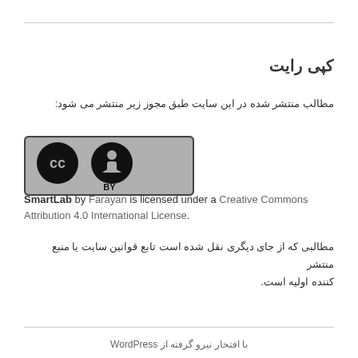کپی رایت
مطالب منتشر شده در این سایت طبق مجوز زیر منتشر می شود:
[Figure (logo): Creative Commons Attribution (CC BY) license badge]
SmartLab by Farayan is licensed under a Creative Commons Attribution 4.0 International License.
مطالبی که از جای دیگری نقل شده است تابع قوانین سایت یا منبع منتشر کننده اولیه است.
با افتخار نیرو گرفته از WordPress